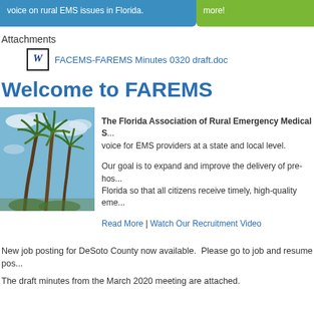voice on rural EMS issues in Florida. | more!
Attachments
FACEMS-FAREMS Minutes 0320 draft.doc
Welcome to FAREMS
[Figure (photo): Photograph of palm trees against a blue sky with clouds]
The Florida Association of Rural Emergency Medical S... voice for EMS providers at a state and local level.

Our goal is to expand and improve the delivery of pre-hospital care in Florida so that all citizens receive timely, high-quality emergency medical care.

Read More | Watch Our Recruitment Video
New job posting for DeSoto County now available.  Please go to job and resume pos...
The draft minutes from the March 2020 meeting are attached.